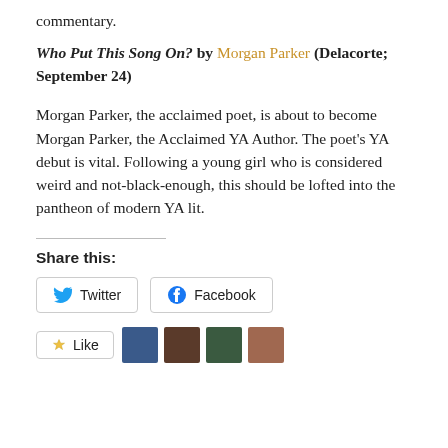commentary.
Who Put This Song On? by Morgan Parker (Delacorte; September 24)
Morgan Parker, the acclaimed poet, is about to become Morgan Parker, the Acclaimed YA Author. The poet's YA debut is vital. Following a young girl who is considered weird and not-black-enough, this should be lofted into the pantheon of modern YA lit.
Share this:
[Figure (other): Twitter and Facebook share buttons, and a Like button with user avatars below]